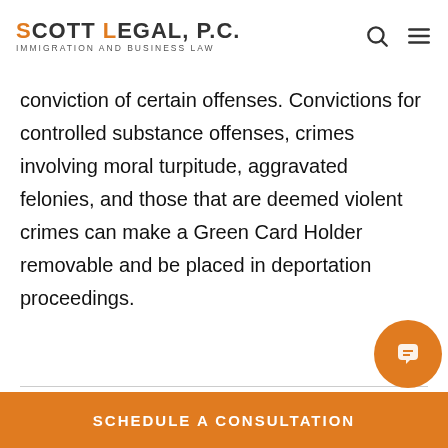SCOTT LEGAL, P.C. IMMIGRATION AND BUSINESS LAW
conviction of certain offenses. Convictions for controlled substance offenses, crimes involving moral turpitude, aggravated felonies, and those that are deemed violent crimes can make a Green Card Holder removable and be placed in deportation proceedings.
View our blog post here to find out how Naturalization can protect you from deportation and other reasons to appl…
SCHEDULE A CONSULTATION